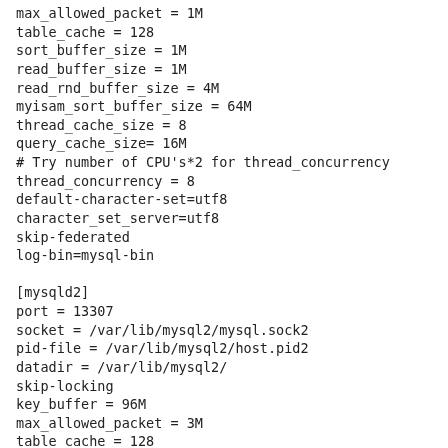max_allowed_packet = 1M
table_cache = 128
sort_buffer_size = 1M
read_buffer_size = 1M
read_rnd_buffer_size = 4M
myisam_sort_buffer_size = 64M
thread_cache_size = 8
query_cache_size= 16M
# Try number of CPU's*2 for thread_concurrency
thread_concurrency = 8
default-character-set=utf8
character_set_server=utf8
skip-federated
log-bin=mysql-bin

[mysqld2]
port = 13307
socket = /var/lib/mysql2/mysql.sock2
pid-file = /var/lib/mysql2/host.pid2
datadir = /var/lib/mysql2/
skip-locking
key_buffer = 96M
max_allowed_packet = 3M
table_cache = 128
sort_buffer_size = 1M
read_buffer_size = 1M
read_rnd_buffer_size = 4M
myisam_sort_buffer_size = 64M
thread_cache_size = 8
query_cache_size= 16M